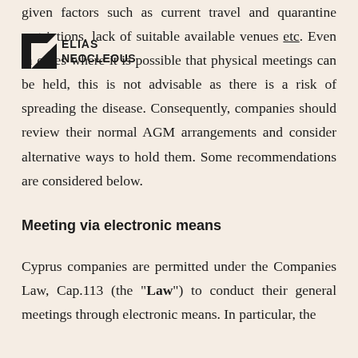given factors such as current travel and quarantine restrictions, lack of suitable available venues etc. Even in cases where it is possible that physical meetings can be held, this is not advisable as there is a risk of spreading the disease. Consequently, companies should review their normal AGM arrangements and consider alternative ways to hold them. Some recommendations are considered below.
[Figure (logo): Elias Neocleous law firm logo — black geometric triangular mark with ELIAS NEOCLEOUS text]
Meeting via electronic means
Cyprus companies are permitted under the Companies Law, Cap.113 (the "Law") to conduct their general meetings through electronic means. In particular, the